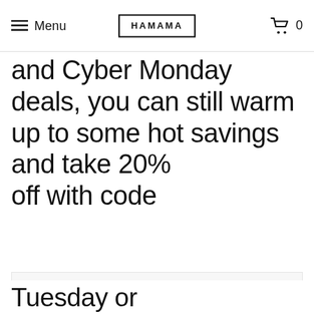Menu | HAMAMA | 0
our Black Friday and Cyber Monday deals, you can still warm up to some hot savings and take 20% off with code...
[Figure (photo): Large white/light grey rectangular image area, mostly blank/white content area below the text]
Tuesday or